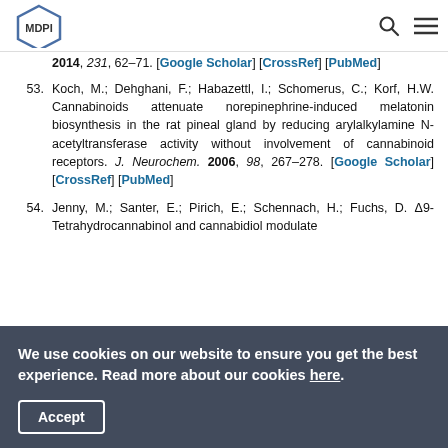MDPI
2014, 231, 62–71. [Google Scholar] [CrossRef] [PubMed]
53. Koch, M.; Dehghani, F.; Habazettl, I.; Schomerus, C.; Korf, H.W. Cannabinoids attenuate norepinephrine-induced melatonin biosynthesis in the rat pineal gland by reducing arylalkylamine N-acetyltransferase activity without involvement of cannabinoid receptors. J. Neurochem. 2006, 98, 267–278. [Google Scholar] [CrossRef] [PubMed]
54. Jenny, M.; Santer, E.; Pirich, E.; Schennach, H.; Fuchs, D. Δ9-Tetrahydrocannabinol and cannabidiol modulate ...
We use cookies on our website to ensure you get the best experience. Read more about our cookies here.